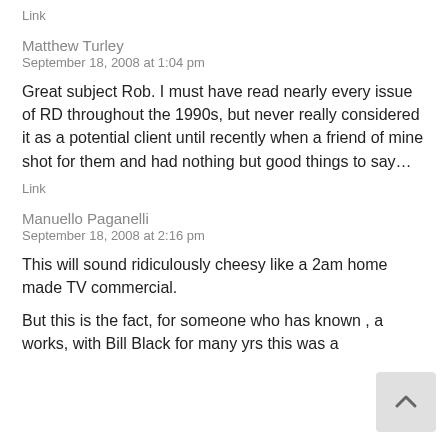Link
Matthew Turley
September 18, 2008 at 1:04 pm
Great subject Rob. I must have read nearly every issue of RD throughout the 1990s, but never really considered it as a potential client until recently when a friend of mine shot for them and had nothing but good things to say…
Link
Manuello Paganelli
September 18, 2008 at 2:16 pm
This will sound ridiculously cheesy like a 2am home made TV commercial.
But this is the fact, for someone who has known , a works, with Bill Black for many yrs this was a